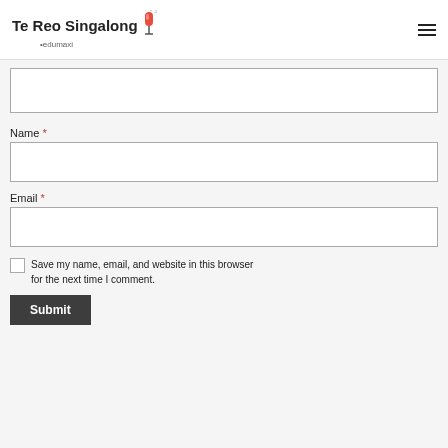Te Reo Singalong edumaxi
Name *
Email *
Save my name, email, and website in this browser for the next time I comment.
Submit